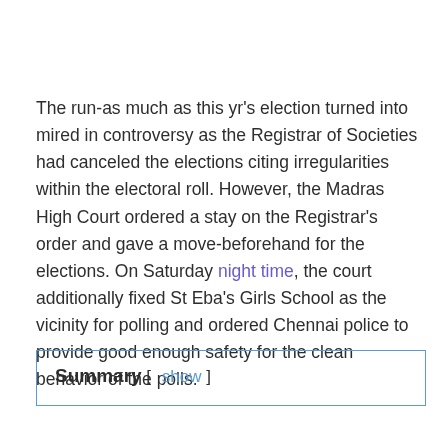The run-as much as this yr's election turned into mired in controversy as the Registrar of Societies had canceled the elections citing irregularities within the electoral roll. However, the Madras High Court ordered a stay on the Registrar's order and gave a move-beforehand for the elections. On Saturday night time, the court additionally fixed St Eba's Girls School as the vicinity for polling and ordered Chennai police to provide good enough safety for the clean behavior of the polls.
| Summary | [ show ] |
| --- | --- |